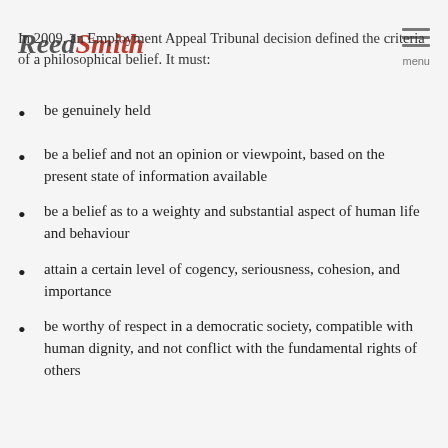Reed Smith | In 2009, an Employment Appeal Tribunal decision defined the criteria of a philosophical belief. It must:
be genuinely held
be a belief and not an opinion or viewpoint, based on the present state of information available
be a belief as to a weighty and substantial aspect of human life and behaviour
attain a certain level of cogency, seriousness, cohesion, and importance
be worthy of respect in a democratic society, compatible with human dignity, and not conflict with the fundamental rights of others